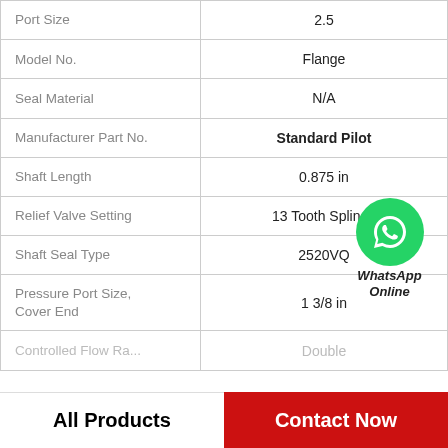| Property | Value |
| --- | --- |
| Port Size | 2.5 |
| Model No. | Flange |
| Seal Material | N/A |
| Manufacturer Part No. | Standard Pilot |
| Shaft Length | 0.875 in |
| Relief Valve Setting | 13 Tooth Splined |
| Shaft Seal Type | 2520VQ |
| Pressure Port Size, Cover End | 1 3/8 in |
| Controlled Flow Rate | Double |
[Figure (logo): WhatsApp Online button with green phone icon]
All Products   Contact Now